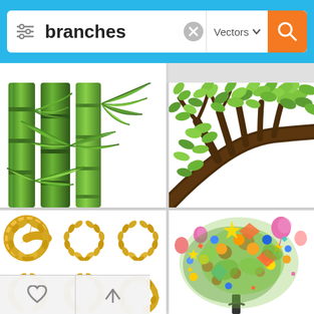[Figure (screenshot): Mobile app search interface showing search bar with 'branches' query and Vectors filter, displaying a grid of vector illustration search results including bamboo, tree branch, laurel wreaths, and colorful festive tree illustrations]
branches
Vectors